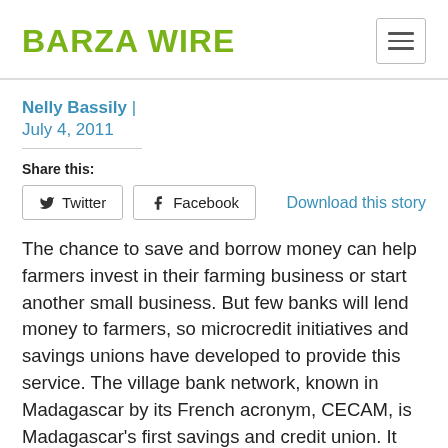BARZA WIRE
Nelly Bassily | July 4, 2011
Share this:
Twitter   Facebook   Download this story
The chance to save and borrow money can help farmers invest in their farming business or start another small business. But few banks will lend money to farmers, so microcredit initiatives and savings unions have developed to provide this service. The village bank network, known in Madagascar by its French acronym, CECAM, is Madagascar's first savings and credit union. It provides savings and credit services which respond to the needs and situations of farmers. It is supported by the government of Madagascar